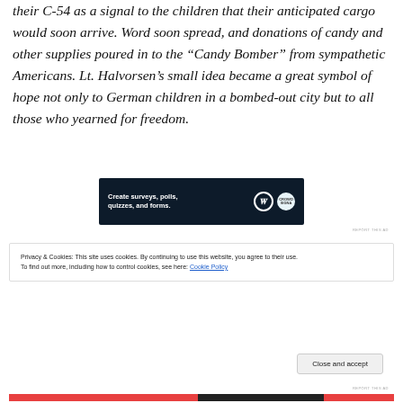their C-54 as a signal to the children that their anticipated cargo would soon arrive. Word soon spread, and donations of candy and other supplies poured in to the “Candy Bomber” from sympathetic Americans. Lt. Halvorsen’s small idea became a great symbol of hope not only to German children in a bombed-out city but to all those who yearned for freedom.
[Figure (other): Advertisement banner with dark navy background reading 'Create surveys, polls, quizzes, and forms.' with WordPress and Crowdsignal logos]
Privacy & Cookies: This site uses cookies. By continuing to use this website, you agree to their use. To find out more, including how to control cookies, see here: Cookie Policy
Close and accept